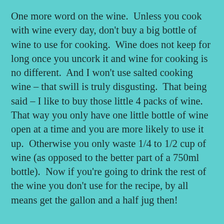One more word on the wine.  Unless you cook with wine every day, don't buy a big bottle of wine to use for cooking.  Wine does not keep for long once you uncork it and wine for cooking is no different.  And I won't use salted cooking wine – that swill is truly disgusting.  That being said – I like to buy those little 4 packs of wine.  That way you only have one little bottle of wine open at a time and you are more likely to use it up.  Otherwise you only waste 1/4 to 1/2 cup of wine (as opposed to the better part of a 750ml bottle).  Now if you're going to drink the rest of the wine you don't use for the recipe, by all means get the gallon and a half jug then!